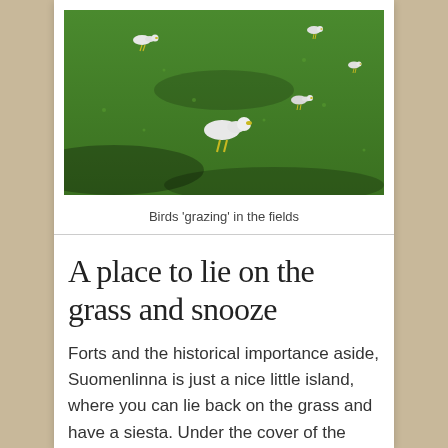[Figure (photo): Birds grazing on a green grassy field, with several seagulls visible across the lawn in sunlight and shadow.]
Birds 'grazing' in the fields
A place to lie on the grass and snooze
Forts and the historical importance aside, Suomenlinna is just a nice little island, where you can lie back on the grass and have a siesta. Under the cover of the large canopy of trees, it's a refreshing way of